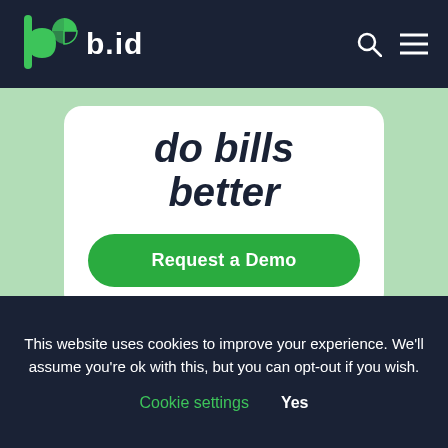b.id navigation bar with logo, search and menu icons
do bills better
Request a Demo
This website uses cookies to improve your experience. We'll assume you're ok with this, but you can opt-out if you wish. Cookie settings  Yes